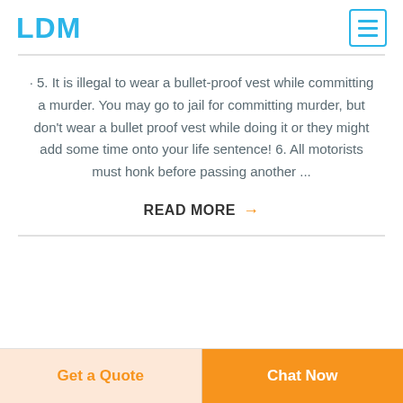LDM
· 5. It is illegal to wear a bullet-proof vest while committing a murder. You may go to jail for committing murder, but don't wear a bullet proof vest while doing it or they might add some time onto your life sentence! 6. All motorists must honk before passing another ...
READ MORE →